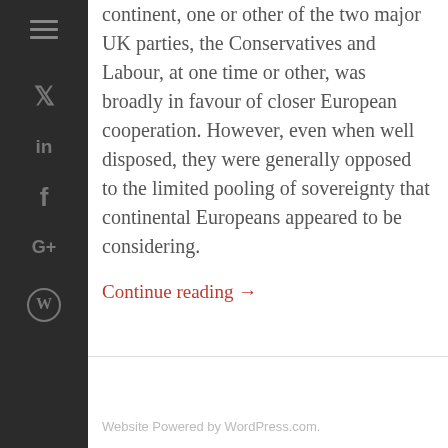continent, one or other of the two major UK parties, the Conservatives and Labour, at one time or other, was broadly in favour of closer European cooperation. However, even when well disposed, they were generally opposed to the limited pooling of sovereignty that continental Europeans appeared to be considering.
Continue reading →
Website Powered by WordPress.com.